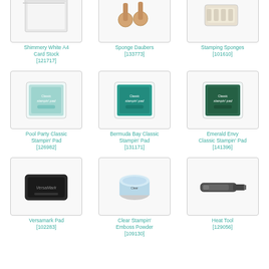[Figure (photo): Shimmery White A4 Card Stock product image]
Shimmery White A4 Card Stock [121717]
[Figure (photo): Sponge Daubers product image]
Sponge Daubers [133773]
[Figure (photo): Stamping Sponges product image]
Stamping Sponges [101610]
[Figure (photo): Pool Party Classic Stampin' Pad product image]
Pool Party Classic Stampin' Pad [126982]
[Figure (photo): Bermuda Bay Classic Stampin' Pad product image]
Bermuda Bay Classic Stampin' Pad [131171]
[Figure (photo): Emerald Envy Classic Stampin' Pad product image]
Emerald Envy Classic Stampin' Pad [141396]
[Figure (photo): Versamark Pad product image]
Versamark Pad [102283]
[Figure (photo): Clear Stampin' Emboss Powder product image]
Clear Stampin' Emboss Powder [109130]
[Figure (photo): Heat Tool product image]
Heat Tool [129056]